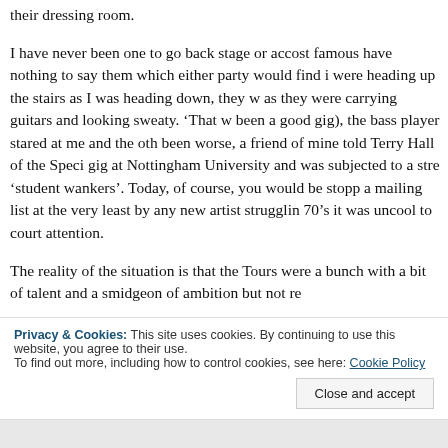their dressing room.
I have never been one to go back stage or accost famous have nothing to say them which either party would find i were heading up the stairs as I was heading down, they w as they were carrying guitars and looking sweaty. ‘That w been a good gig), the bass player stared at me and the oth been worse, a friend of mine told Terry Hall of the Speci gig at Nottingham University and was subjected to a stre ‘student wankers’. Today, of course, you would be stopp a mailing list at the very least by any new artist strugglin 70’s it was uncool to court attention.
The reality of the situation is that the Tours were a bunc with a bit of talent and a smidgeon of ambition but not re s n
Privacy & Cookies: This site uses cookies. By continuing to use this website, you agree to their use.
To find out more, including how to control cookies, see here: Cookie Policy
Close and accept